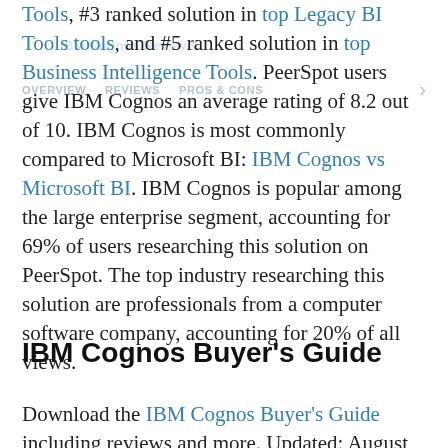Tools, #3 ranked solution in top Legacy BI Tools tools, and #5 ranked solution in top Business Intelligence Tools. PeerSpot users give IBM Cognos an average rating of 8.2 out of 10. IBM Cognos is most commonly compared to Microsoft BI: IBM Cognos vs Microsoft BI. IBM Cognos is popular among the large enterprise segment, accounting for 69% of users researching this solution on PeerSpot. The top industry researching this solution are professionals from a computer software company, accounting for 20% of all views.
IBM Cognos Buyer's Guide
Download the IBM Cognos Buyer's Guide including reviews and more. Updated: August 2023...